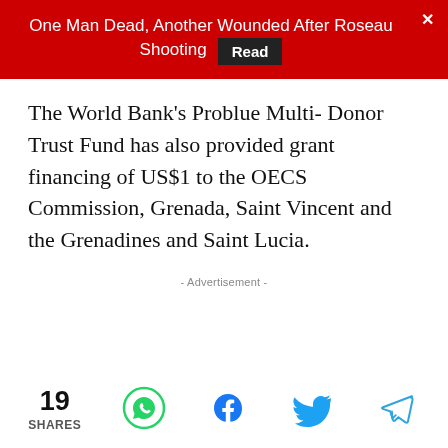One Man Dead, Another Wounded After Roseau Shooting  Read  ×
The World Bank's Problue Multi- Donor Trust Fund has also provided grant financing of US$1 to the OECS Commission, Grenada, Saint Vincent and the Grenadines and Saint Lucia.
- Advertisement -
19 SHARES [WhatsApp] [Facebook] [Twitter] [Telegram]